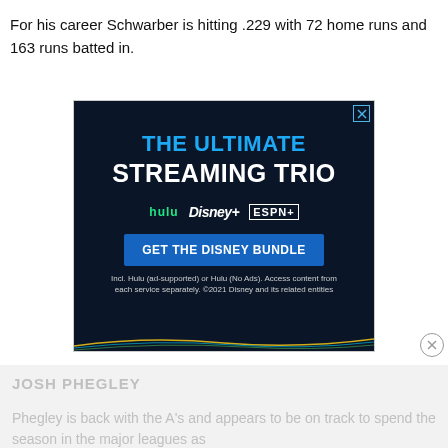For his career Schwarber is hitting .229 with 72 home runs and 163 runs batted in.
[Figure (screenshot): Advertisement for Disney Bundle streaming service showing 'THE ULTIMATE STREAMING TRIO' with Hulu, Disney+, and ESPN+ logos, a 'GET THE DISNEY BUNDLE' button, and disclaimer text on dark navy background.]
JOSH PHEGLEY
Phegley is back with the A's and appears to be on track to spend the season in the major leagues as